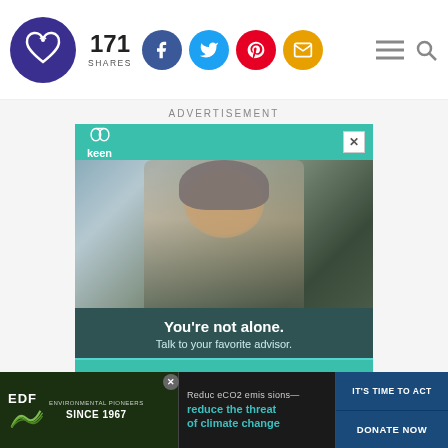171 SHARES
ADVERTISEMENT
[Figure (screenshot): Keen advertisement banner showing a woman in a winter hat talking on a phone, with teal header showing Keen logo. Text overlay reads 'You're not alone. Talk to your favorite advisor.' with a CALL NOW button.]
[Figure (screenshot): EDF Environmental Pioneers Since 1967 bottom banner advertisement with text 'Reduce CO2 emissions—reduce the threat of climate change' and buttons 'IT'S TIME TO ACT' and 'DONATE NOW']